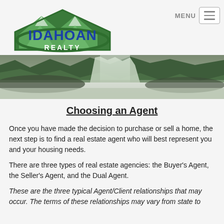[Figure (logo): Idahoan Realty logo with green mountain/house graphic and blue IDAHOAN REALTY text]
[Figure (photo): Panoramic photo of a mountain waterfall scene with rocky terrain and snow]
Choosing an Agent
Once you have made the decision to purchase or sell a home, the next step is to find a real estate agent who will best represent you and your housing needs.
There are three types of real estate agencies: the Buyer's Agent, the Seller's Agent, and the Dual Agent.
These are the three typical Agent/Client relationships that may occur. The terms of these relationships may vary from state to state, and we verify the terms of the Agency Act...